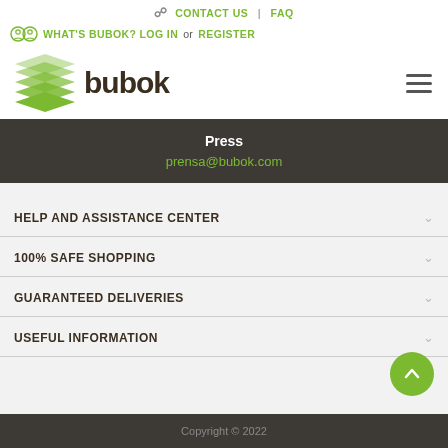CONTACT US | FAQ
WHAT'S BUBOK? LOG IN or REGISTER
[Figure (logo): Bubok logo with green stacked pages icon and dark brown 'bubok' text]
Press
prensa@bubok.com
HELP AND ASSISTANCE CENTER
100% SAFE SHOPPING
GUARANTEED DELIVERIES
USEFUL INFORMATION
Copyright © 2022